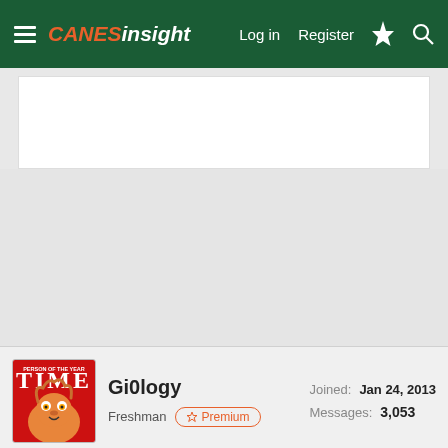CaNeSiNSiGht — Log in  Register
[Figure (screenshot): White ad banner area]
[Figure (photo): TIME magazine cover avatar showing Gritty mascot, used as user profile picture for Gi0logy]
Gi0logy
Freshman  ☆ Premium
Joined: Jan 24, 2013
Messages: 3,053
Feb 22, 2022  #2